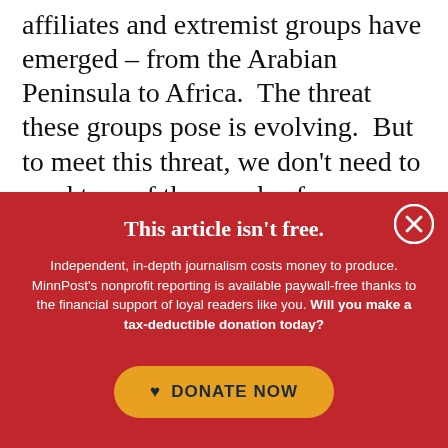affiliates and extremist groups have emerged – from the Arabian Peninsula to Africa.  The threat these groups pose is evolving.  But to meet this threat, we don't need to send tens of thousands of our sons and daughters abroad, or occupy other nations.  Instead, we will need to help
This article isn't free.
Independent, in-depth journalism costs money to produce. MinnPost's nonprofit reporting is available paywall-free thanks to the financial support of loyal readers like you. Will you make a tax-deductible donation today?
DONATE NOW